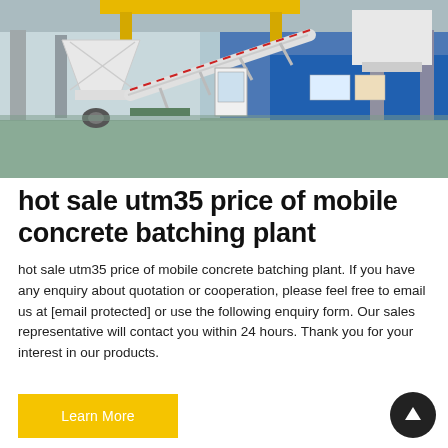[Figure (photo): Industrial factory interior showing a white mobile concrete batching plant / mixer equipment with conveyor belt and hopper, yellow overhead crane structure visible, blue wall in background, green concrete floor.]
hot sale utm35 price of mobile concrete batching plant
hot sale utm35 price of mobile concrete batching plant. If you have any enquiry about quotation or cooperation, please feel free to email us at [email protected] or use the following enquiry form. Our sales representative will contact you within 24 hours. Thank you for your interest in our products.